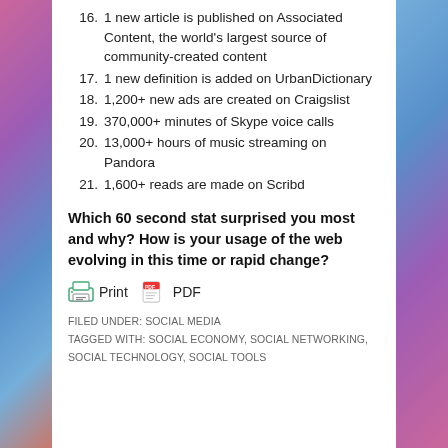16. 1 new article is published on Associated Content, the world's largest source of community-created content
17. 1 new definition is added on UrbanDictionary
18. 1,200+ new ads are created on Craigslist
19. 370,000+ minutes of Skype voice calls
20. 13,000+ hours of music streaming on Pandora
21. 1,600+ reads are made on Scribd
Which 60 second stat surprised you most and why? How is your usage of the web evolving in this time or rapid change?
Print  PDF
FILED UNDER: SOCIAL MEDIA
TAGGED WITH: SOCIAL ECONOMY, SOCIAL NETWORKING, SOCIAL TECHNOLOGY, SOCIAL TOOLS